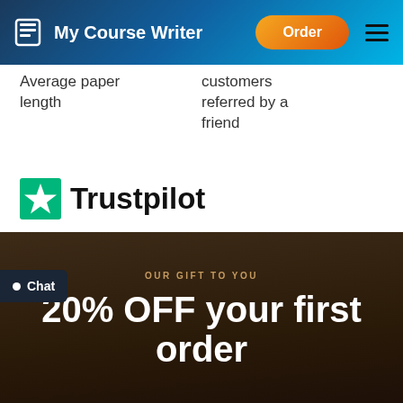My Course Writer | Order
Average paper length
customers referred by a friend
[Figure (logo): Trustpilot logo with green star and Trustpilot text]
4.5 (five green star rating)
OUR GIFT TO YOU
20% OFF your first order